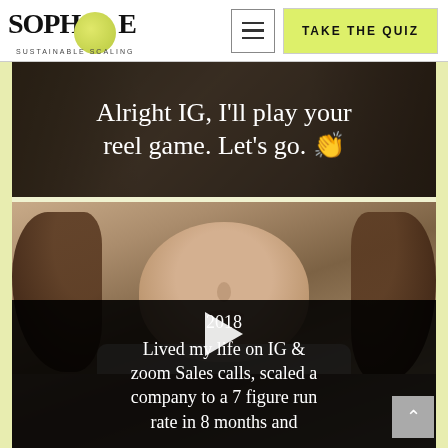SOPHIE SUSTAINABLE SCALING — navigation header with hamburger menu and TAKE THE QUIZ button
[Figure (screenshot): Dark-overlaid banner image with text: Alright IG, I'll play your reel game. Let's go. 👏]
[Figure (screenshot): Video thumbnail showing a woman with curly brown hair and white top. Play button visible. Overlay text: 2018 / Lived my life on IG & zoom Sales calls, scaled a company to a 7 figure run rate in 8 months and]